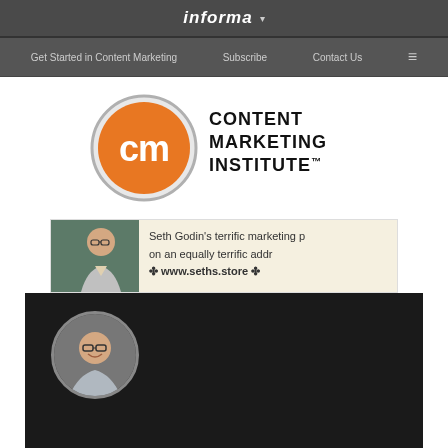informa ▾
Get Started in Content Marketing   Subscribe   Contact Us   ≡
[Figure (logo): Content Marketing Institute logo — orange circle with white 'cm' letters, text reads CONTENT MARKETING INSTITUTE™]
[Figure (photo): Advertisement banner: Seth Godin's terrific marketing p on an equally terrific addr www.seths.store]
[Figure (photo): Dark author bio section with circular profile photo of Scott Frangos, a middle-aged man with glasses smiling]
Author: Scott Frangos
Entrepreneur, marketer, and digital...